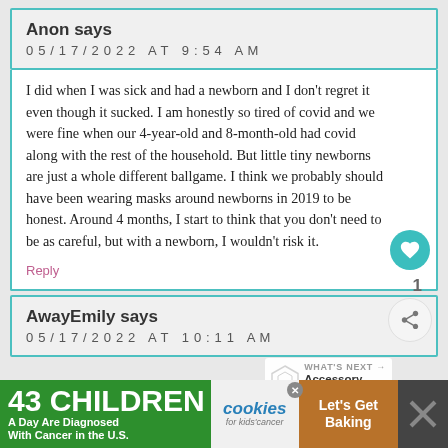Anon says
05/17/2022 AT 9:54 AM
I did when I was sick and had a newborn and I don't regret it even though it sucked. I am honestly so tired of covid and we were fine when our 4-year-old and 8-month-old had covid along with the rest of the household. But little tiny newborns are just a whole different ballgame. I think we probably should have been wearing masks around newborns in 2019 to be honest. Around 4 months, I start to think that you don't need to be as careful, but with a newborn, I wouldn't risk it.
Reply
AwayEmily says
05/17/2022 AT 10:11 AM
43 CHILDREN A Day Are Diagnosed With Cancer in the U.S.
cookies for kids' cancer
Let's Get Baking